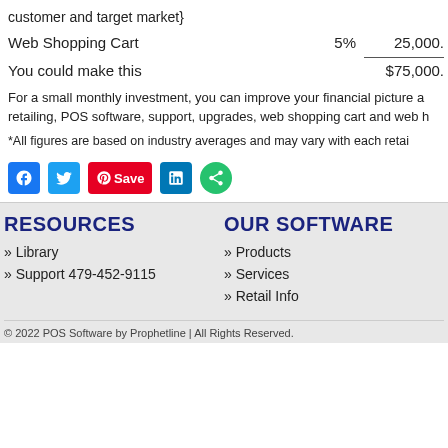customer and target market}
| Web Shopping Cart | 5% | 25,000. |
| You could make this |  | $75,000. |
For a small monthly investment, you can improve your financial picture a retailing, POS software, support, upgrades, web shopping cart and web h
*All figures are based on industry averages and may vary with each retai
[Figure (other): Social sharing buttons: Facebook, Twitter, Pinterest Save, LinkedIn, More]
RESOURCES
OUR SOFTWARE
» Library
» Products
» Support 479-452-9115
» Services
» Retail Info
© 2022 POS Software by Prophetline | All Rights Reserved.